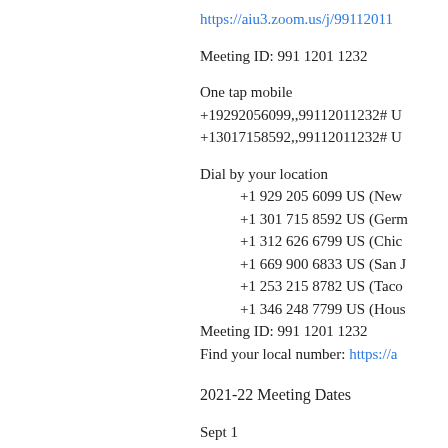https://aiu3.zoom.us/j/99112011232
Meeting ID: 991 1201 1232
One tap mobile
+19292056099,,99112011232# US
+13017158592,,99112011232# US
Dial by your location
+1 929 205 6099 US (New York)
+1 301 715 8592 US (Germantown)
+1 312 626 6799 US (Chicago)
+1 669 900 6833 US (San Jose)
+1 253 215 8782 US (Tacoma)
+1 346 248 7799 US (Houston)
Meeting ID: 991 1201 1232
Find your local number: https://a
2021-22 Meeting Dates
Sept 1